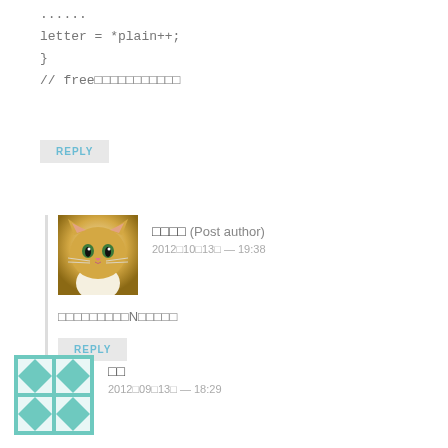......
letter = *plain++:
}
// free□□□□□□□□□□□
REPLY
[Figure (photo): Avatar image of a cat (orange and white)]
□□□□ (Post author)
2012□10□13□ — 19:38
□□□□□□□□□N□□□□□
REPLY
[Figure (illustration): Teal and white quilt-pattern avatar icon]
□□
2012□09□13□ — 18:29
strlen(plain);